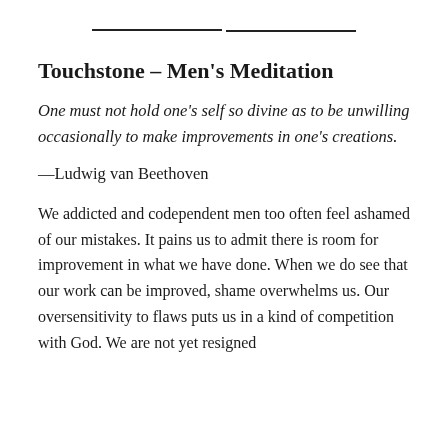Touchstone – Men's Meditation
One must not hold one's self so divine as to be unwilling occasionally to make improvements in one's creations.
—Ludwig van Beethoven
We addicted and codependent men too often feel ashamed of our mistakes. It pains us to admit there is room for improvement in what we have done. When we do see that our work can be improved, shame overwhelms us. Our oversensitivity to flaws puts us in a kind of competition with God. We are not yet resigned to being creatures, fallible humans, not divine. God alone